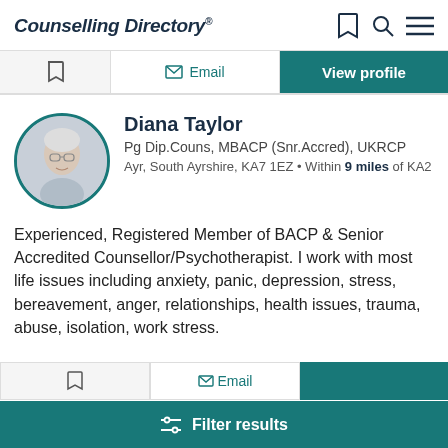Counselling Directory
[Figure (screenshot): Action bar with bookmark, Email, and View profile buttons]
[Figure (photo): Circular profile photo of Diana Taylor with teal border]
Diana Taylor
Pg Dip.Couns, MBACP (Snr.Accred), UKRCP
Ayr, South Ayrshire, KA7 1EZ • Within 9 miles of KA2
Experienced, Registered Member of BACP & Senior Accredited Counsellor/Psychotherapist. I work with most life issues including anxiety, panic, depression, stress, bereavement, anger, relationships, health issues, trauma, abuse, isolation, work stress.
Filter results